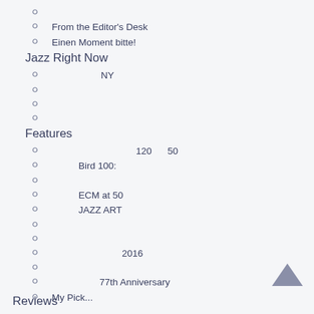From the Editor's Desk
Einen Moment bitte!
Jazz Right Now
NY
Features
120        50
Bird 100:
ECM at 50
JAZZ ART
2016
77th Anniversary
My Pick...
Reviews